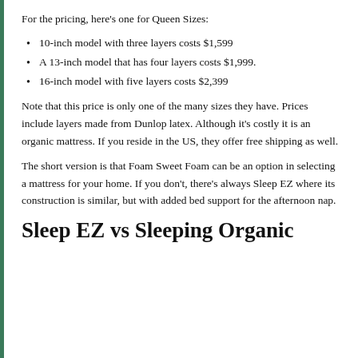For the pricing, here's one for Queen Sizes:
10-inch model with three layers costs $1,599
A 13-inch model that has four layers costs $1,999.
16-inch model with five layers costs $2,399
Note that this price is only one of the many sizes they have. Prices include layers made from Dunlop latex. Although it's costly it is an organic mattress. If you reside in the US, they offer free shipping as well.
The short version is that Foam Sweet Foam can be an option in selecting a mattress for your home. If you don't, there's always Sleep EZ where its construction is similar, but with added bed support for the afternoon nap.
Sleep EZ vs Sleeping Organic